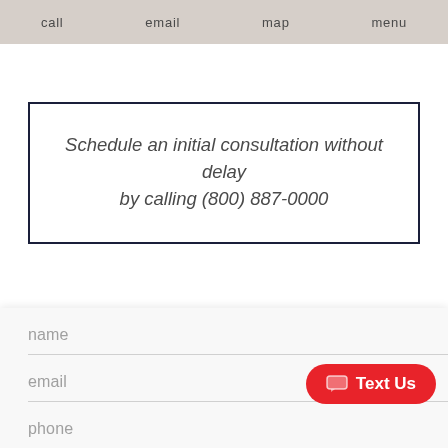call  email  map  menu
Schedule an initial consultation without delay by calling (800) 887-0000
name
email
phone
are you a new client?